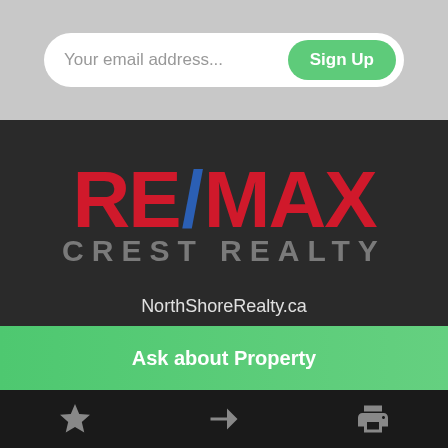[Figure (screenshot): Email subscription bar with placeholder text 'Your email address...' and a green 'Sign Up' button on a light gray background]
[Figure (logo): RE/MAX Crest Realty logo on dark background. RE/MAX in large red bold letters with blue slash, CREST REALTY in gray below]
NorthShoreRealty.ca
Ask about Property
[Figure (screenshot): Bottom navigation bar with star, share arrow, and printer icons on dark background]